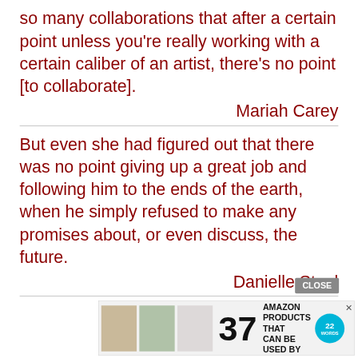so many collaborations that after a certain point unless you're really working with a certain caliber of an artist, there's no point [to collaborate].
Mariah Carey
But even she had figured out that there was no point giving up a great job and following him to the ends of the earth, when he simply refused to make any promises about, or even discuss, the future.
Danielle Steel
I try n... because there's no point because you go crazy. I'm very happy with the way this is
[Figure (screenshot): Advertisement overlay showing '37 Genius Amazon Products That Can Be Used By Anyone' with a CLOSE button and 22 Words logo]